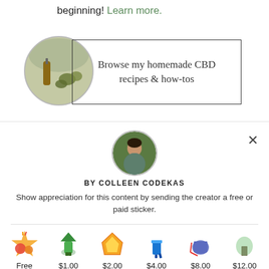beginning! Learn more.
[Figure (other): Banner with circular photo of CBD oil bottle and hemp buds on green cloth, next to a bordered box with text 'Browse my homemade CBD recipes & how-tos']
[Figure (other): Modal popup with circular avatar photo of a person, close button (×), byline 'BY COLLEEN CODEKAS', description text, divider, and row of sticker options with prices: Free, $1.00, $2.00, $4.00, $8.00, $12.00]